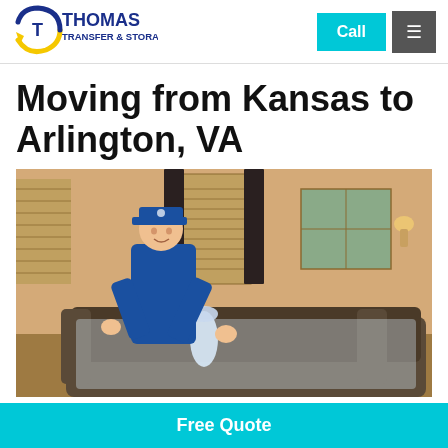[Figure (logo): Thomas Transfer & Storage logo with blue circular arrow and blue/yellow text]
Moving from Kansas to Arlington, VA
[Figure (photo): A mover in a blue uniform and cap wrapping a sofa with clear plastic wrap in a living room]
Free Quote